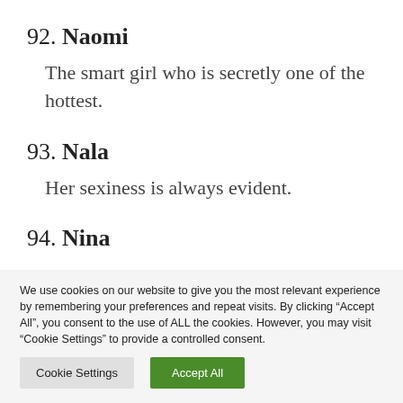92. Naomi
The smart girl who is secretly one of the hottest.
93. Nala
Her sexiness is always evident.
94. Nina
We use cookies on our website to give you the most relevant experience by remembering your preferences and repeat visits. By clicking “Accept All”, you consent to the use of ALL the cookies. However, you may visit “Cookie Settings” to provide a controlled consent.